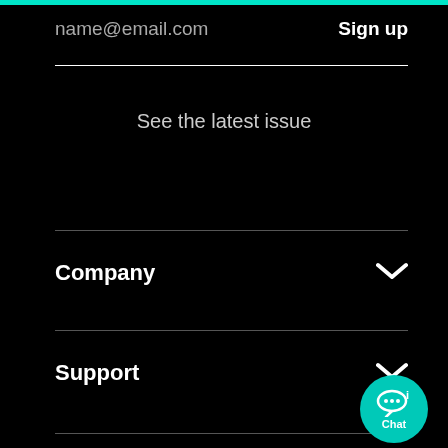name@email.com
Sign up
See the latest issue
Company
Support